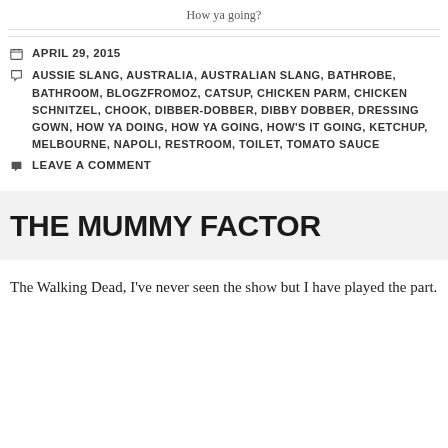How ya going?
APRIL 29, 2015
AUSSIE SLANG, AUSTRALIA, AUSTRALIAN SLANG, BATHROBE, BATHROOM, BLOGZFROMOZ, CATSUP, CHICKEN PARM, CHICKEN SCHNITZEL, CHOOK, DIBBER-DOBBER, DIBBY DOBBER, DRESSING GOWN, HOW YA DOING, HOW YA GOING, HOW'S IT GOING, KETCHUP, MELBOURNE, NAPOLI, RESTROOM, TOILET, TOMATO SAUCE
LEAVE A COMMENT
THE MUMMY FACTOR
The Walking Dead, I've never seen the show but I have played the part.